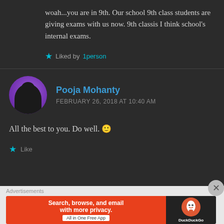woah...you are in 9th. Our school 9th class students are giving exams with us now. 9th classis I think school's internal exams.
Liked by 1person
Pooja Mohanty
FEBRUARY 26, 2018 AT 10:40 AM
All the best to you. Do well. 🙂
Like
Advertisements
Search, browse, and email with more privacy. All in One Free App | DuckDuckGo